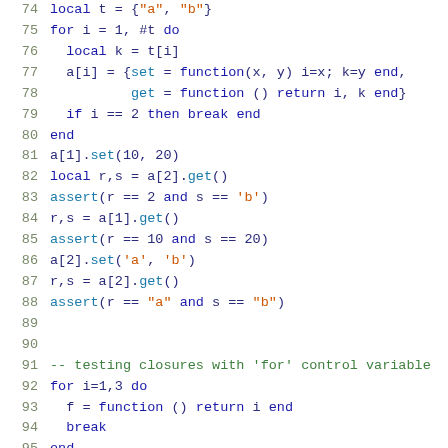Code listing lines 74-95: Lua code testing closures with for control variable